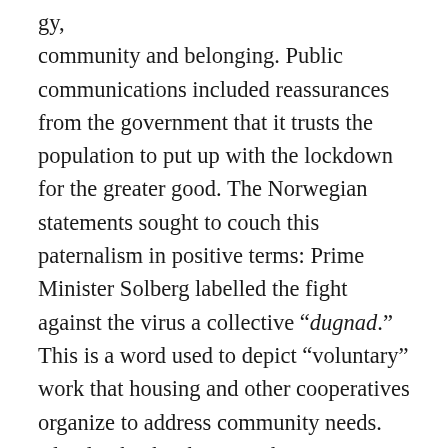community and belonging. Public communications included reassurances from the government that it trusts the population to put up with the lockdown for the greater good. The Norwegian statements sought to couch this paternalism in positive terms: Prime Minister Solberg labelled the fight against the virus a collective “dugnad.” This is a word used to depict “voluntary” work that housing and other cooperatives organize to address community needs. Clearly, this has been working. In a recent poll, 77 per cent declared that they supported the government’s handling of the coronavirus. The main governing party, Solberg’s conservative party (Høyre), saw a dramatic rise in support between